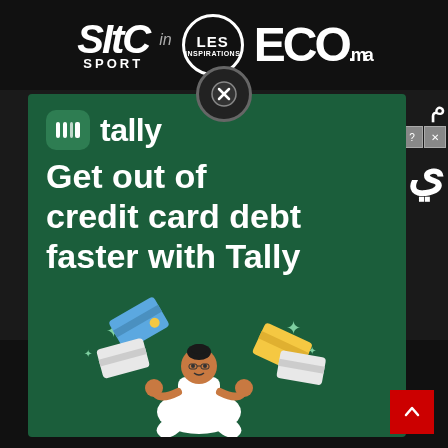[Figure (screenshot): Website screenshot showing logos: Le Site Sport, Les Inspirations, ECO.ma in dark header bar]
[Figure (screenshot): Tally advertisement overlay on dark website background: 'Get out of credit card debt faster with Tally' with illustration of person meditating with credit cards]
© Co ... Press
Vie p ... gales